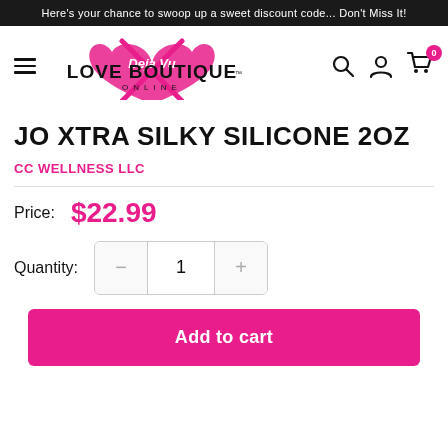Here's your chance to swoop up a sweet discount code... Don't Miss It!
[Figure (logo): Deja Vu Love Boutique Online logo with pink heart/bow graphic and black bold text]
JO XTRA SILKY SILICONE 2OZ
CC WELLNESS LLC
Price: $22.99
Quantity: 1
Add to cart